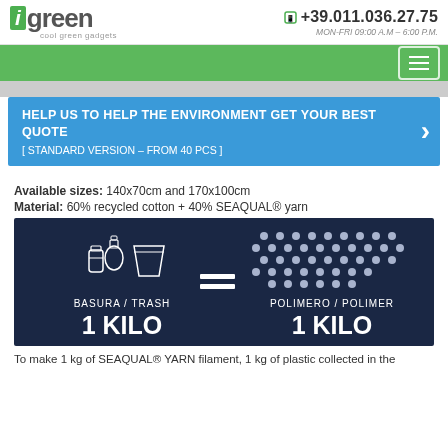igreen cool green gadgets | +39.011.036.27.75 | MON-FRI 09:00 A.M – 6:00 P.M.
HELP US TO HELP THE ENVIRONMENT GET YOUR BEST QUOTE [ STANDARD VERSION – FROM 40 PCS ]
Available sizes: 140x70cm and 170x100cm
Material: 60% recycled cotton + 40% SEAQUAL® yarn
[Figure (infographic): Dark navy blue infographic showing BASURA / TRASH 1 KILO = POLIMERO / POLIMER 1 KILO with icons of trash items and polymer dots]
To make 1 kg of SEAQUAL® YARN filament, 1 kg of plastic collected in the